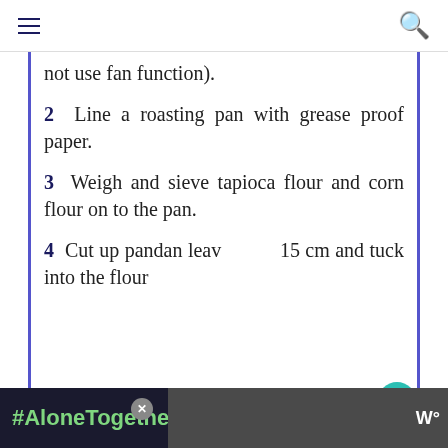not use fan function).
2  Line a roasting pan with grease proof paper.
3  Weigh and sieve tapioca flour and corn flour on to the pan.
4  Cut up pandan leav... 15 cm and tuck into the flour
#AloneTogether